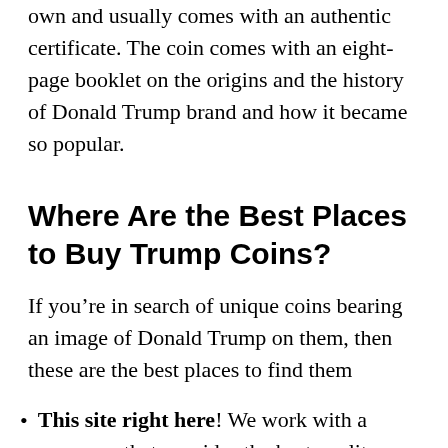own and usually comes with an authentic certificate. The coin comes with an eight-page booklet on the origins and the history of Donald Trump brand and how it became so popular.
Where Are the Best Places to Buy Trump Coins?
If you’re in search of unique coins bearing an image of Donald Trump on them, then these are the best places to find them
This site right here! We work with a company that provides the best quality